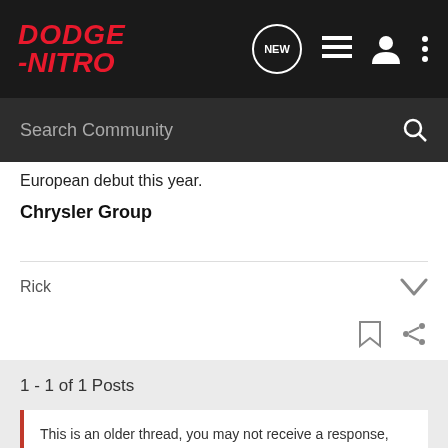DODGE-NITRO
European debut this year.
Chrysler Group
Rick
1 - 1 of 1 Posts
This is an older thread, you may not receive a response, and could be reviving an old thread. Please consider creating a new thread.